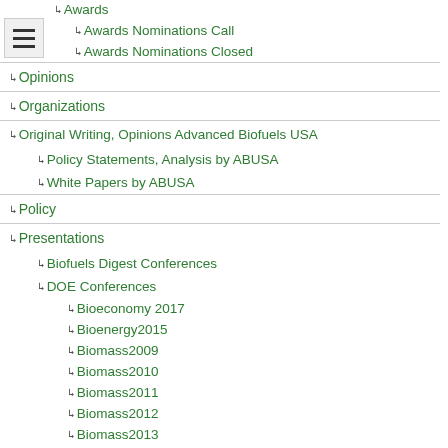Awards
Awards Nominations Call
Awards Nominations Closed
Opinions
Organizations
Original Writing, Opinions Advanced Biofuels USA
Policy Statements, Analysis by ABUSA
White Papers by ABUSA
Policy
Presentations
Biofuels Digest Conferences
DOE Conferences
Bioeconomy 2017
Bioenergy2015
Biomass2009
Biomass2010
Biomass2011
Biomass2012
Biomass2013
Biomass2014
DOE Project Peer Review
Other Conferences/Events
R & D Focus